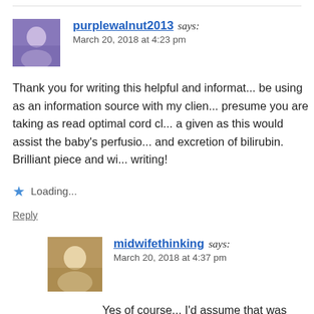purplewalnut2013 says:
March 20, 2018 at 4:23 pm

Thank you for writing this helpful and informat... be using as an information source with my clien... presume you are taking as read optimal cord cl... a given as this would assist the baby's perfusio... and excretion of bilirubin. Brilliant piece and wi... writing!
Loading...
Reply
midwifethinking says:
March 20, 2018 at 4:37 pm

Yes of course... I'd assume that was stan...